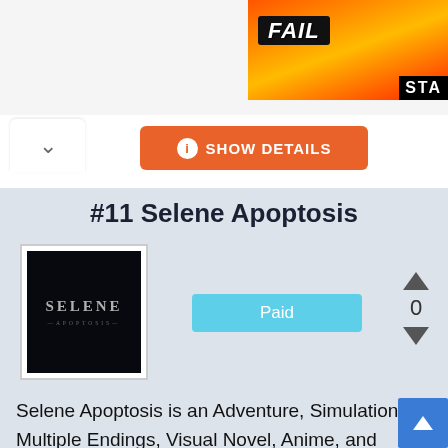[Figure (screenshot): Advertisement banner with FAIL text on flame background with cartoon character]
[Figure (other): Chevron up button (collapse/expand toggle)]
[Figure (other): Orange SHOW DETAILS button with info icon]
#11 Selene Apoptosis
[Figure (other): Book cover for Selene Apoptosis - dark background with title text]
[Figure (other): Paid button (light blue)]
[Figure (other): Vote controls: up arrow, 0 count, down arrow]
Selene Apoptosis is an Adventure, Simulation, Multiple Endings, Visual Novel, Anime, and Single-